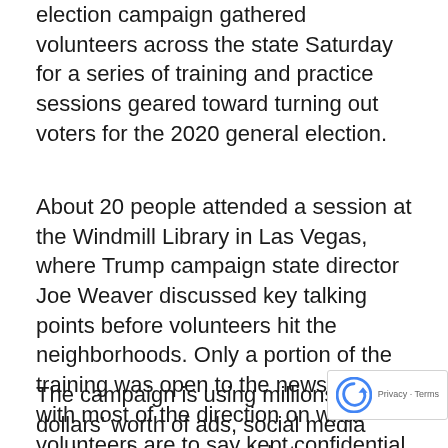election campaign gathered volunteers across the state Saturday for a series of training and practice sessions geared toward turning out voters for the 2020 general election.
About 20 people attended a session at the Windmill Library in Las Vegas, where Trump campaign state director Joe Weaver discussed key talking points before volunteers hit the neighborhoods. Only a portion of the training was open to the news media, with most of the direction on what volunteers are to say kept confidential.
The campaign is using millions of dollars' worth of ads, social media posts and other materials to "push a full force campaign against the impeachment of the president," Weaver said. In Nevada, the offensive is pointed at the state's